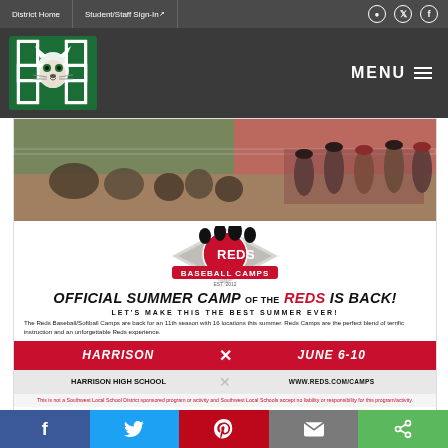District Home | Student/Staff Sign-In
[Figure (logo): Harrison High School wildcat logo with green H]
MENU
[Figure (photo): Group of youth baseball players with Reds coaches on a baseball field]
[Figure (logo): Reds Baseball Camps logo - EST. 2012]
OFFICIAL SUMMER CAMP OF THE REDS IS BACK!
LET'S MAKE THIS THE BEST SUMMER EVER!
The Reds Baseball/Softball Camps are back for an 11th season with 16 locations this summer. Reds Camps are the perfect blend of terrific instruction and an unforgettable Reds experience.
HARRISON   ×   JUNE 6-10
Harrison High School   ×   WWW.REDS.COM/CAMPS
This is not a Southwest Local School District sponsored program or activity and Southwest Local Schools accept no liability or responsibility for this program/activity.
Whether your player is picking up a bat for the...   Camps are open to boys and girls ages 6 to...
Facebook | Twitter | Pinterest | Email | Share